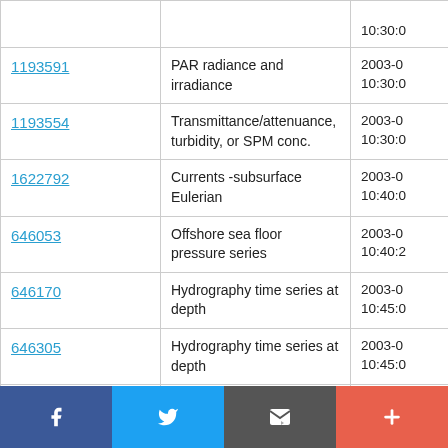| ID | Description | Date |
| --- | --- | --- |
| (partial) |  | 10:30:0... |
| 1193591 | PAR radiance and irradiance | 2003-0... 10:30:0... |
| 1193554 | Transmittance/attenuance, turbidity, or SPM conc. | 2003-0... 10:30:0... |
| 1622792 | Currents -subsurface Eulerian | 2003-0... 10:40:0... |
| 646053 | Offshore sea floor pressure series | 2003-0... 10:40:2... |
| 646170 | Hydrography time series at depth | 2003-0... 10:45:0... |
| 646305 | Hydrography time series at depth | 2003-0... 10:45:0... |
| 646... | Hydrography time series at depth | 2003-0... |